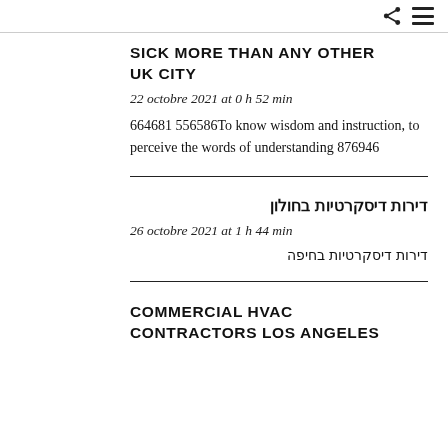SICK MORE THAN ANY OTHER UK CITY
22 octobre 2021 at 0 h 52 min
664681 556586To know wisdom and instruction, to perceive the words of understanding 876946
דירות דיסקרטיות בחולון
26 octobre 2021 at 1 h 44 min
דירות דיסקרטיות בחיפה
COMMERCIAL HVAC CONTRACTORS LOS ANGELES